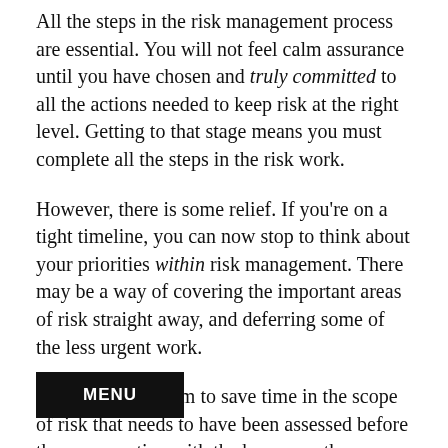All the steps in the risk management process are essential. You will not feel calm assurance until you have chosen and truly committed to all the actions needed to keep risk at the right level. Getting to that stage means you must complete all the steps in the risk work.
However, there is some relief. If you're on a tight timeline, you can now stop to think about your priorities within risk management. There may be a way of covering the important areas of risk straight away, and deferring some of the less urgent work.
There is some room to save time in the scope of risk that needs to have been assessed before the conversation with the boss over the business plan. The risk process so far has already set aside a lot of 'risk' that is worth assessing and managing, such as fraud, health and safety, and security risk. You also flew under 'strategic' risk, because managing risk for your own work unit, not the risk for corporate strategy.